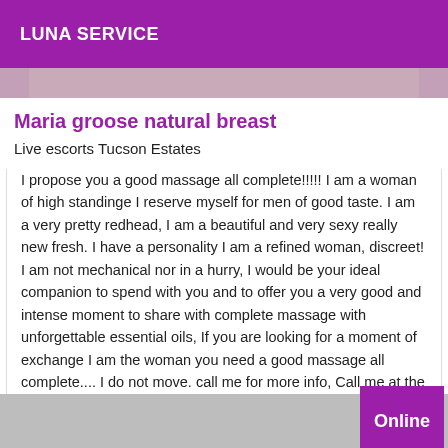LUNA SERVICE
Maria groose natural breast
Live escorts Tucson Estates
I propose you a good massage all complete!!!!! I am a woman of high standinge I reserve myself for men of good taste. I am a very pretty redhead, I am a beautiful and very sexy really new fresh. I have a personality I am a refined woman, discreet! I am not mechanical nor in a hurry, I would be your ideal companion to spend with you and to offer you a very good and intense moment to share with complete massage with unforgettable essential oils, If you are looking for a moment of exchange I am the woman you need a good massage all complete.... I do not move. call me for more info, Call me at the Big Kiss at very soon....À bientôt...
Online